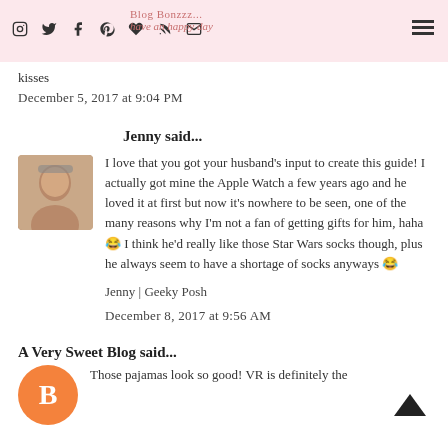Blog Bonzzz... | have an happy day | [social icons]
kisses
December 5, 2017 at 9:04 PM
Jenny said...
I love that you got your husband's input to create this guide! I actually got mine the Apple Watch a few years ago and he loved it at first but now it's nowhere to be seen, one of the many reasons why I'm not a fan of getting gifts for him, haha 😂 I think he'd really like those Star Wars socks though, plus he always seem to have a shortage of socks anyways 😂
Jenny | Geeky Posh
December 8, 2017 at 9:56 AM
A Very Sweet Blog said...
Those pajamas look so good! VR is definitely the